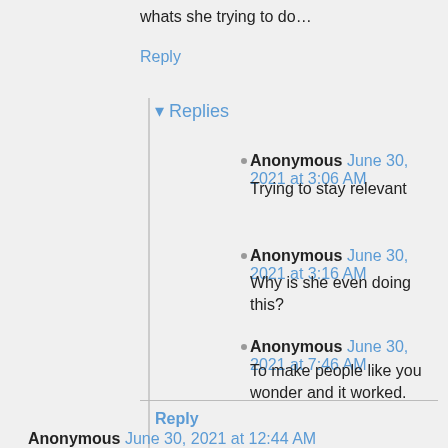whats she trying to do…
Reply
▾ Replies
Anonymous June 30, 2021 at 3:06 AM
Trying to stay relevant
Anonymous June 30, 2021 at 3:16 AM
Why is she even doing this?
Anonymous June 30, 2021 at 7:46 AM
To make people like you wonder and it worked.
Reply
Anonymous June 30, 2021 at 12:44 AM